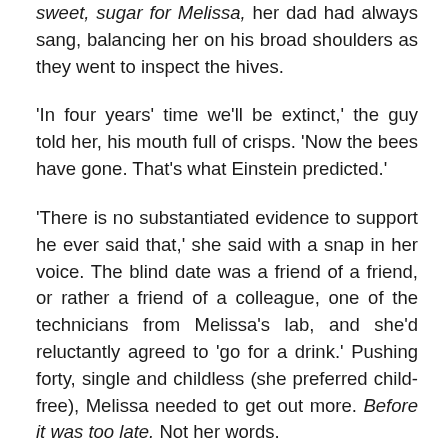sweet, sugar for Melissa, her dad had always sang, balancing her on his broad shoulders as they went to inspect the hives.

'In four years' time we'll be extinct,' the guy told her, his mouth full of crisps. 'Now the bees have gone. That's what Einstein predicted.'

'There is no substantiated evidence to support he ever said that,' she said with a snap in her voice. The blind date was a friend of a friend, or rather a friend of a colleague, one of the technicians from Melissa's lab, and she'd reluctantly agreed to 'go for a drink.' Pushing forty, single and childless (she preferred child-free), Melissa needed to get out more. Before it was too late. Not her words.